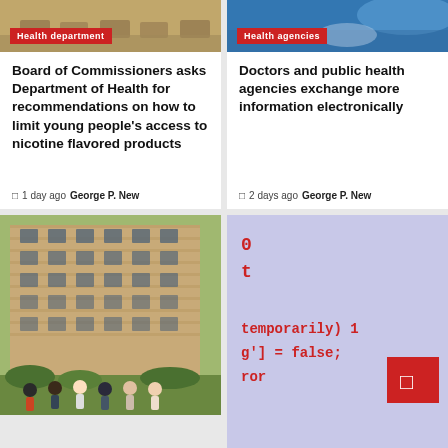[Figure (photo): Photo of a classroom or meeting room with chairs, with a red badge labeling 'Health department']
Board of Commissioners asks Department of Health for recommendations on how to limit young people's access to nicotine flavored products
1 day ago  George P. New
[Figure (photo): Photo with blue lighting, with a red badge labeling 'Health agencies']
Doctors and public health agencies exchange more information electronically
2 days ago  George P. New
[Figure (photo): Photo of a multi-story brick apartment building with a group of people standing outside]
[Figure (screenshot): Screenshot of code on a light purple/lavender background showing partial code with 'temporarily)', 'g'] = false;', 'ror' in red monospace font, with a red square icon in the corner]